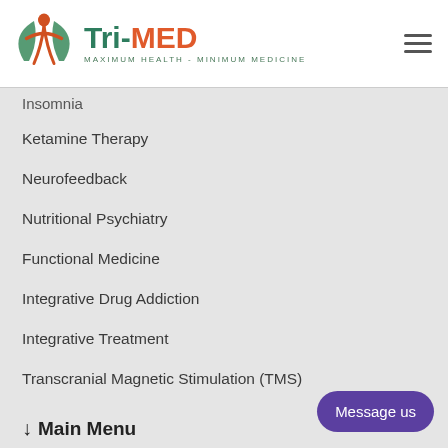Tri-MED — MAXIMUM HEALTH - MINIMUM MEDICINE
Insomnia
Ketamine Therapy
Neurofeedback
Nutritional Psychiatry
Functional Medicine
Integrative Drug Addiction
Integrative Treatment
Transcranial Magnetic Stimulation (TMS)
↓ Main Menu
Home
About ▶
Services ▶
Telemedicine